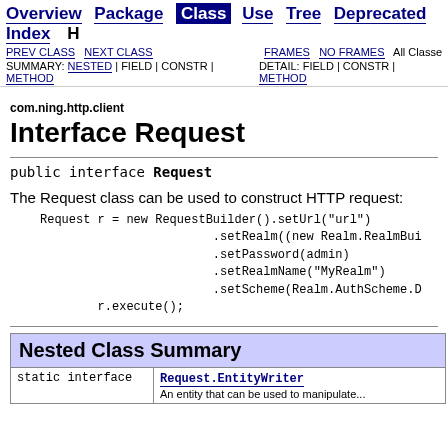Overview  Package  Class  Use  Tree  Deprecated  Index  H... | PREV CLASS  NEXT CLASS  FRAMES  NO FRAMES  All Classes | SUMMARY: NESTED | FIELD | CONSTR | METHOD | DETAIL: FIELD | CONSTR | METHOD
com.ning.http.client
Interface Request
public interface Request
The Request class can be used to construct HTTP request:
Request r = new RequestBuilder().setUrl("url")
                        .setRealm((new Realm.RealmBui
                        .setPassword(admin)
                        .setRealmName("MyRealm")
                        .setScheme(Realm.AuthScheme.D
        r.execute();
|  | Nested Class Summary |
| --- | --- |
| static interface | Request.EntityWriter
An entity that can be used to manipulate... |